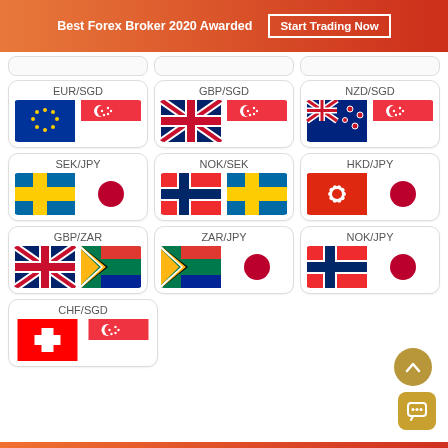Best Forex Broker 2020 Awarded | Start Trading Now
[Figure (infographic): Currency pair cards grid showing forex pairs with country flags: EUR/SGD, GBP/SGD, NZD/SGD, SEK/JPY, NOK/SEK, HKD/JPY, GBP/ZAR, ZAR/JPY, NOK/JPY, CHF/SGD]